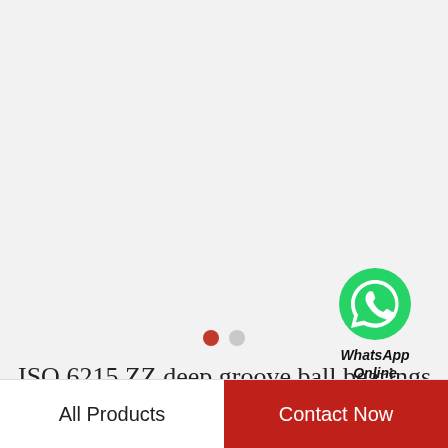[Figure (logo): WhatsApp green circle icon with white phone handset symbol, with text 'WhatsApp Online' below in bold italic]
[Figure (infographic): Two pagination dots: one red (active) and one light gray (inactive)]
ISO 6215 ZZ deep groove ball bearings
All Products
Contact Now